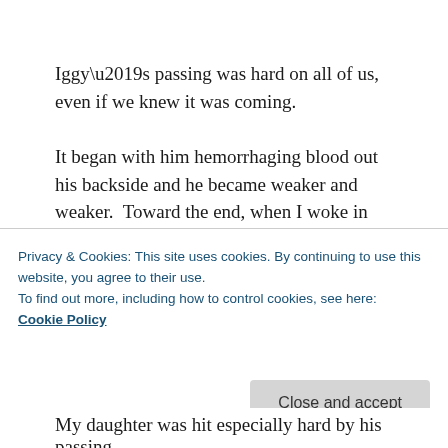Iggy’s passing was hard on all of us, even if we knew it was coming.
It began with him hemorrhaging blood out his backside and he became weaker and weaker.  Toward the end, when I woke in the morning and rejoined his side, he was pretty much gone, his pupils fixed and dilated and his body just gasping for air every so often.  It was painful to witness and our family took
Privacy & Cookies: This site uses cookies. By continuing to use this website, you agree to their use.
To find out more, including how to control cookies, see here:
Cookie Policy
Close and accept
My daughter was hit especially hard by his passing